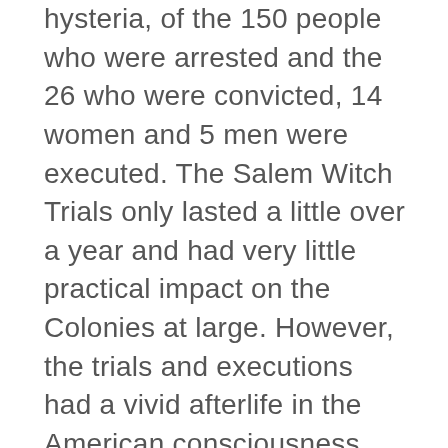hysteria, of the 150 people who were arrested and the 26 who were convicted, 14 women and 5 men were executed. The Salem Witch Trials only lasted a little over a year and had very little practical impact on the Colonies at large. However, the trials and executions had a vivid afterlife in the American consciousness, giving rise to a wealth of scholarship and an abundance of cultural artifacts including paintings, novels, plays, and films.